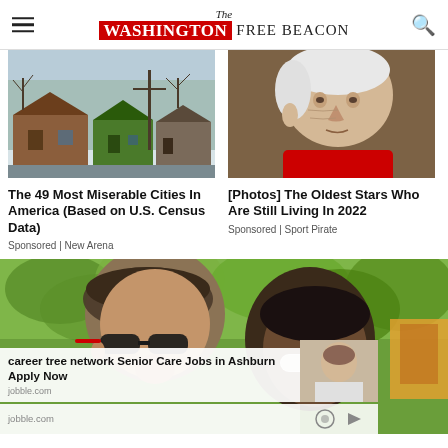The Washington Free Beacon
[Figure (photo): Abandoned rundown houses on a street in winter, bare trees, gray sky]
The 49 Most Miserable Cities In America (Based on U.S. Census Data)
Sponsored | New Arena
[Figure (photo): Elderly man with white hair wearing a red shirt]
[Photos] The Oldest Stars Who Are Still Living In 2022
Sponsored | Sport Pirate
[Figure (photo): Two people outdoors with green foliage background, with advertisement overlay for career tree network Senior Care Jobs in Ashburn Apply Now from jobble.com]